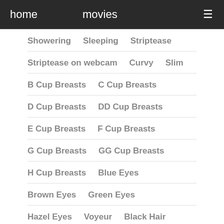home   movies   ≡
Showering   Sleeping   Striptease
Striptease on webcam   Curvy   Slim
B Cup Breasts   C Cup Breasts
D Cup Breasts   DD Cup Breasts
E Cup Breasts   F Cup Breasts
G Cup Breasts   GG Cup Breasts
H Cup Breasts   Blue Eyes
Brown Eyes   Green Eyes
Hazel Eyes   Voyeur   Black Hair
Blonde   Brunette   Red Hair